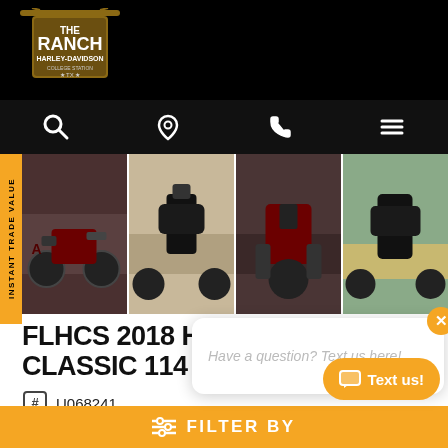[Figure (logo): The Ranch Harley-Davidson dealership logo on black background]
[Figure (photo): Four motorcycle photos in a horizontal strip showing a dark red Harley-Davidson Heritage Classic 114 from multiple angles]
FLHCS 2018 HERITAGE CLASSIC 114
U068241
2018
1015 mi
F02 TWISTED CHERRY
Have a question? Text us here!
INSTANT TRADE VALUE
FILTER BY